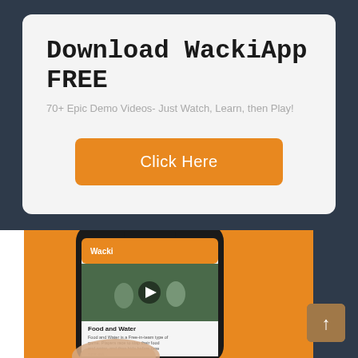Download WackiApp FREE
70+ Epic Demo Videos- Just Watch, Learn, then Play!
Click Here
[Figure (screenshot): A hand holding a smartphone displaying the WackiApp application. The phone screen shows a video thumbnail of children playing outdoors with a play button overlay. Below the video is text reading 'Food and Water' followed by a description. The background behind the phone is orange.]